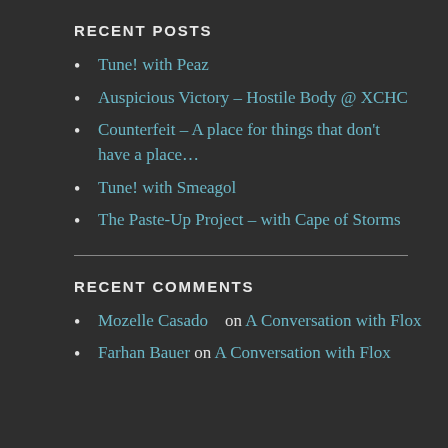RECENT POSTS
Tune! with Peaz
Auspicious Victory – Hostile Body @ XCHC
Counterfeit – A place for things that don't have a place…
Tune! with Smeagol
The Paste-Up Project – with Cape of Storms
RECENT COMMENTS
Mozelle Casado   on A Conversation with Flox
Farhan Bauer on A Conversation with Flox